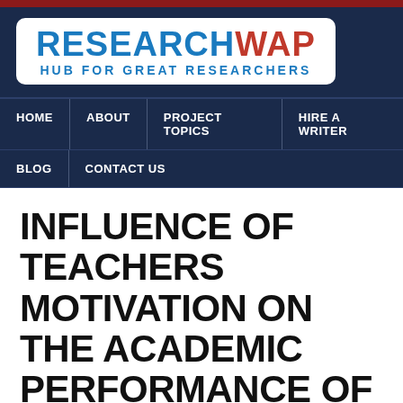[Figure (logo): ResearchWAP logo with text 'RESEARCHWAP HUB FOR GREAT RESEARCHERS' on white rounded rectangle background with dark navy header]
HOME | ABOUT | PROJECT TOPICS | HIRE A WRITER | BLOG | CONTACT US
INFLUENCE OF TEACHERS MOTIVATION ON THE ACADEMIC PERFORMANCE OF ECONOMIC STUDENTS